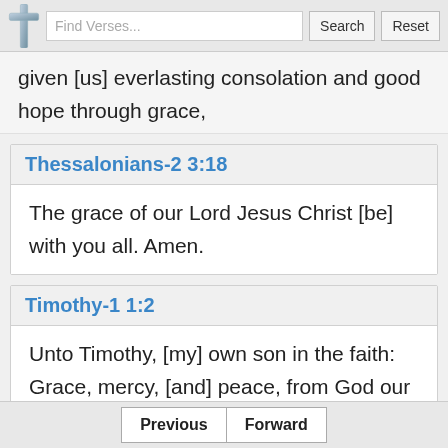Find Verses... Search Reset
given [us] everlasting consolation and good hope through grace,
Thessalonians-2 3:18
The grace of our Lord Jesus Christ [be] with you all. Amen.
Timothy-1 1:2
Unto Timothy, [my] own son in the faith: Grace, mercy, [and] peace, from God our Father and
Previous Forward